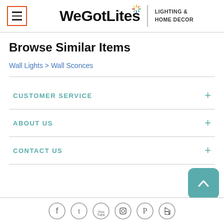WeGotLites LIGHTING & HOME DECOR
Browse Similar Items
Wall Lights > Wall Sconces
CUSTOMER SERVICE
ABOUT US
CONTACT US
[Figure (other): Social media icons: Facebook, Twitter, YouTube, Instagram, Pinterest, Houzz]
[Figure (other): Back to top button (teal rounded square with upward chevron)]